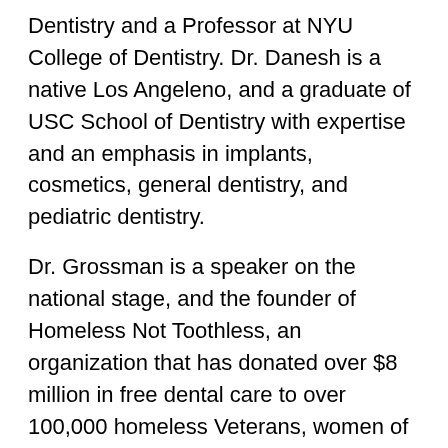Dentistry and a Professor at NYU College of Dentistry. Dr. Danesh is a native Los Angeleno, and a graduate of USC School of Dentistry with expertise and an emphasis in implants, cosmetics, general dentistry, and pediatric dentistry.
Dr. Grossman is a speaker on the national stage, and the founder of Homeless Not Toothless, an organization that has donated over $8 million in free dental care to over 100,000 homeless Veterans, women of domestic abuse, and foster children.
Concierge Dentistry team's goal has always been simple: to deliver the finest dental care available. Using state-of-the-art dental technology, they have provided modern imaging capabilities that allow their patients to clearly see the reasons for procedures and the intended results. They recognize that patients are individuals with different goals and needs, and they strive to provide a soothing and